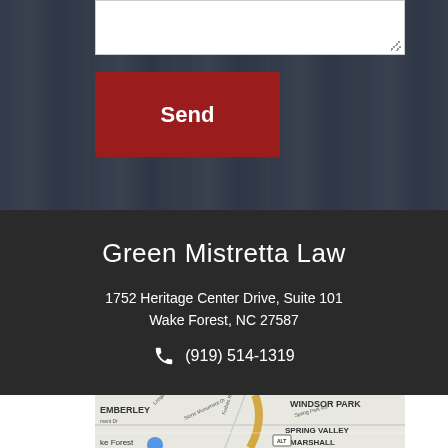[Figure (screenshot): Dark building background with white textarea input and dark red Send button]
Green Mistretta Law
1752 Heritage Center Drive, Suite 101
Wake Forest, NC 27587
(919) 514-1319
[Figure (map): Street map showing Wake Forest NC area with WINDSOR PARK, SPRING VALLEY, MARSHALL neighborhoods and road labels including Forbes Rd, Spring Park Rd, Stone Monument Dr, Selsey Dr]